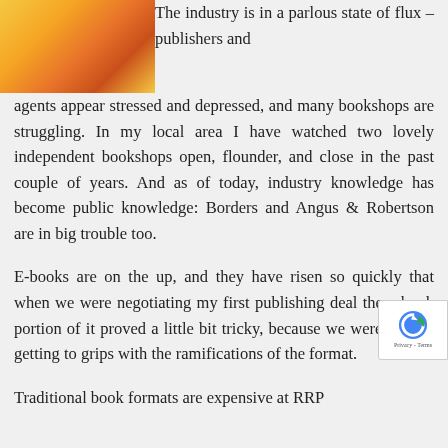[Figure (photo): Close-up photo of yellow and orange flower petals]
The industry is in a parlous state of flux – publishers and agents appear stressed and depressed, and many bookshops are struggling. In my local area I have watched two lovely independent bookshops open, flounder, and close in the past couple of years. And as of today, industry knowledge has become public knowledge: Borders and Angus & Robertson are in big trouble too.
E-books are on the up, and they have risen so quickly that when we were negotiating my first publishing deal the e-book portion of it proved a little bit tricky, because we were all still getting to grips with the ramifications of the format. Traditional book formats are expensive at RRP...